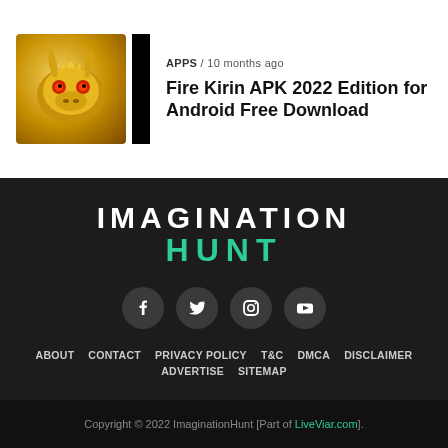[Figure (illustration): Golden dragon head app icon thumbnail with a black vertical bar beside it]
APPS / 10 months ago
Fire Kirin APK 2022 Edition for Android Free Download
IMAGINATION HUNT
[Figure (other): Social media icons: Facebook, Twitter, Instagram, YouTube]
ABOUT   CONTACT   PRIVACY POLICY   T&C   DMCA   DISCLAIMER   ADVERTISE   SITEMAP
Copyright © 2022 ImaginationHunt [Part of LiveViar.com].